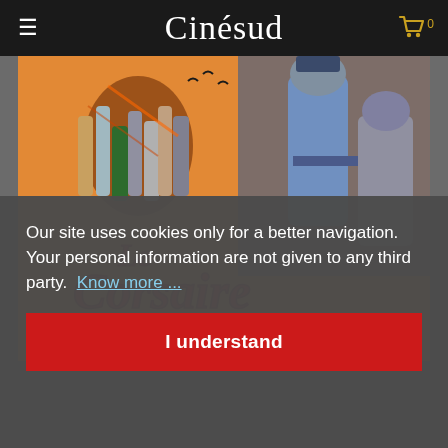Cinésud
[Figure (photo): Movie poster for 'Le Corsaire Rouge' showing a colorful action scene with pirates/soldiers fighting, large red text reading 'Le Corsaire Rouge' at the bottom]
Our site uses cookies only for a better navigation. Your personal information are not given to any third party. Know more ...
I understand